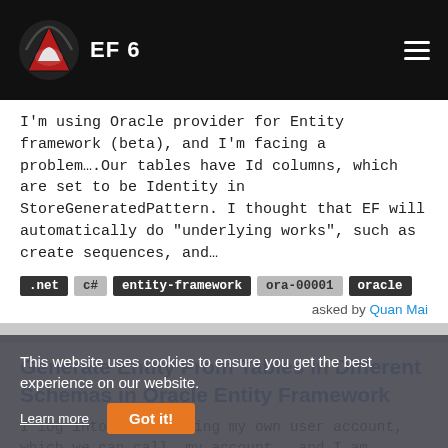EF 6
I'm using Oracle provider for Entity framework (beta), and I'm facing a problem….Our tables have Id columns, which are set to be Identity in StoreGeneratedPattern. I thought that EF will automatically do "underlying works", such as create sequences, and…
.net  c#  entity-framework  ora-00001  oracle
asked by Quan Mai
Generate Entity From Tables in Different Schemas in Oracle Entity Framework
I log into Oracle using my own user account, which we can call …my_account…, and I am granted …select…
This website uses cookies to ensure you get the best experience on our website.
Learn more
Got it!